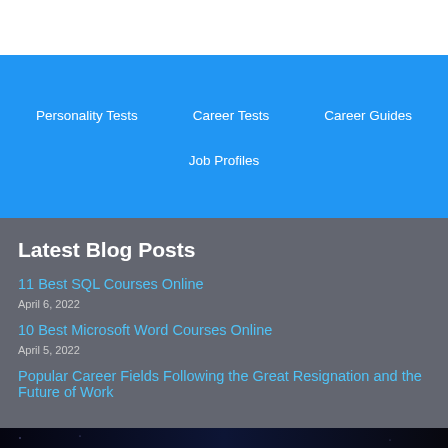Personality Tests
Career Tests
Career Guides
Job Profiles
Latest Blog Posts
11 Best SQL Courses Online
April 6, 2022
10 Best Microsoft Word Courses Online
April 5, 2022
Popular Career Fields Following the Great Resignation and the Future of Work
[Figure (screenshot): SHE CAN STEM advertisement banner with logo]